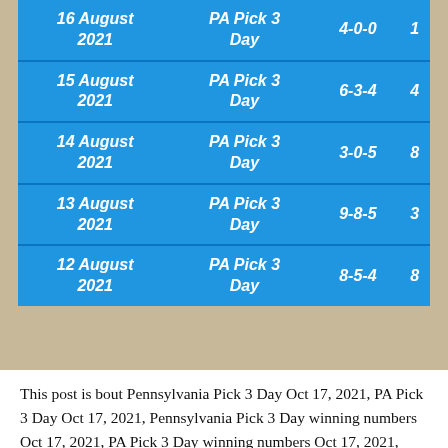| Date | Lottery | Numbers | Sum |
| --- | --- | --- | --- |
| 16 August 2021 | PA Pick 3 Day | 4-0-0 | 1 |
| 15 August 2021 | PA Pick 3 Day | 6-3-4 | 4 |
| 14 August 2021 | PA Pick 3 Day | 3-0-5 | 8 |
| 13 August 2021 | PA Pick 3 Day | 9-8-5 | 3 |
| 12 August 2021 | PA Pick 3 Day | 8-5-4 | 8 |
This post is bout Pennsylvania Pick 3 Day Oct 17, 2021, PA Pick 3 Day Oct 17, 2021, Pennsylvania Pick 3 Day winning numbers Oct 17, 2021, PA Pick 3 Day winning numbers Oct 17, 2021, Pennsylvania Pick 3 Day lottery Oct 17, 2021, PA Pick 3 Day Oct 17, 2021, PA Pick 3 Day lottery Oct 17, 2021, Pennsylvania Pick 3 Day numbers Oct 17, 2021, PA Pi…